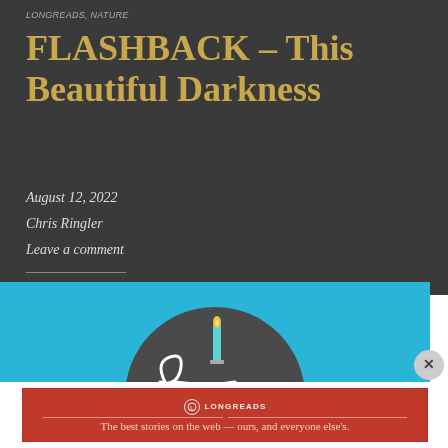LONGREADS, NATURE
FLASHBACK – This Beautiful Darkness
August 12, 2022
Chris Ringler
Leave a comment
[Figure (illustration): Illustration of a birthday cake candle on a dark circular background with blue surrounding area, cartoon style with white swirl design]
[Figure (logo): Longreads advertisement banner in red with logo and tagline: The best stories on the web — ours, and everyone else's.]